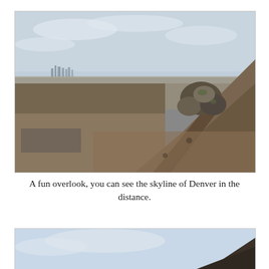[Figure (photo): A hiking trail leading up a dry, grassy hillside with large boulders at the top. In the background, the Denver city skyline is visible in the far distance, along with a flat urban landscape and a lake.]
A fun overlook, you can see the skyline of Denver in the distance.
[Figure (photo): Partial view of another outdoor scene, showing a pale sky and a dark hillside at the bottom right corner.]